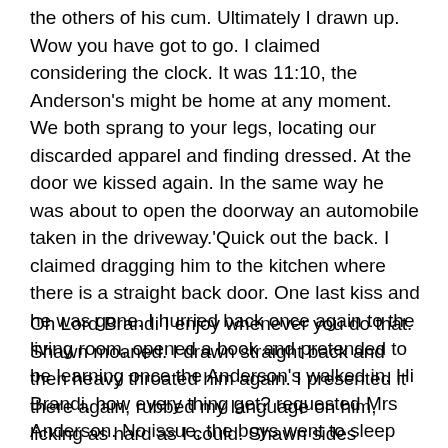the others of his cum. Ultimately I drawn up. Wow you have got to go. I claimed considering the clock. It was 11:10, the Anderson's might be home at any moment. We both sprang to your legs, locating our discarded apparel and finding dressed. At the door we kissed again. In the same way he was about to open the doorway an automobile taken in the driveway.'Quick out the back. I claimed dragging him to the kitchen where there is a straight back door. One last kiss and he was gone. I hurried back once again to the living room, opened a book and pretended to be learning once the Anderson's walked in. Hi Brandi, how every thing get? requested Mrs Anderson. No issue, the boys went to sleep just like expected.
Oh Lord Brandi I enjoy whenever you do that. Shawn moaned. I drawn straight back and then heavy throated him again. I presented it there again, rubbed my language on him, licking as hard as I could. Shawn sides removed down the sofa in an endeavor to obtain also greater, but my experience was correct against his body. He could not go